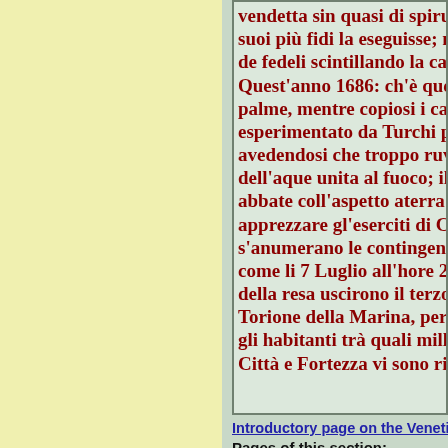vendetta sin quasi di spiru suoi più fidi la eseguisse; m de fedeli scintillando la ca Quest'anno 1686: ch'è que palme, mentre copiosi i ca esperimentato da Turchi p avedendosi che troppo ruv dell'aque unita al fuoco; il abbate coll'aspetto aterra apprezzare gl'eserciti di C s'anumerano le contingenz come li 7 Luglio all'hore 2 della resa uscirono il terzo Torione della Marina, per gli habitanti trà quali mill Città e Fortezza vi sono ri
Introductory page on the Venetian
Pages of this section:
On the Ionian Islands:   Corfù
(Kephallonia)   Asso (Assos)   Ita